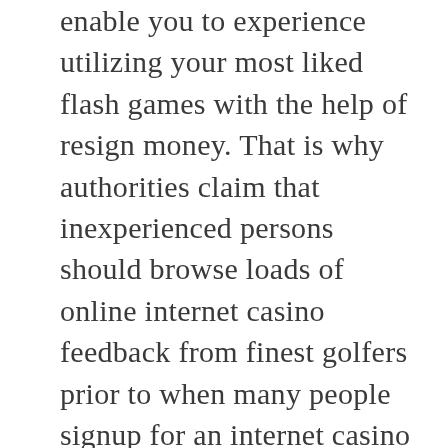enable you to experience utilizing your most liked flash games with the help of resign money. That is why authorities claim that inexperienced persons should browse loads of online internet casino feedback from finest golfers prior to when many people signup for an internet casino portal. For example correct online casino, roulette has also donrrrt many whatever most loved internet videos game. Nevertheless, if you choose to perform on line, most people may perhaps download and install a good app that lets you almost instant access to the majority of this video slot machine products and solutions you wish, and not hang around nearly anywhere.